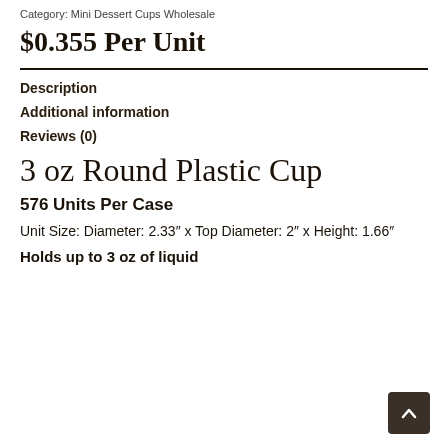Category: Mini Dessert Cups Wholesale
$0.355 Per Unit
Description
Additional information
Reviews (0)
3 oz Round Plastic Cup
576 Units Per Case
Unit Size: Diameter: 2.33" x Top Diameter: 2" x Height: 1.66"
Holds up to 3 oz of liquid